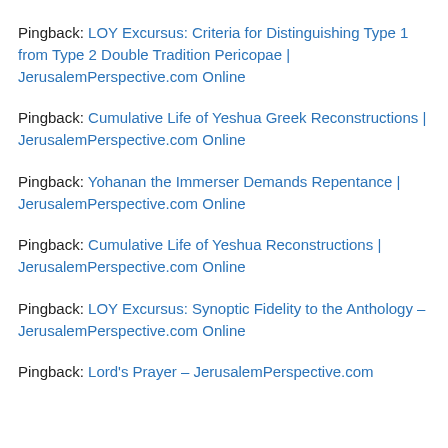Pingback: LOY Excursus: Criteria for Distinguishing Type 1 from Type 2 Double Tradition Pericopae | JerusalemPerspective.com Online
Pingback: Cumulative Life of Yeshua Greek Reconstructions | JerusalemPerspective.com Online
Pingback: Yohanan the Immerser Demands Repentance | JerusalemPerspective.com Online
Pingback: Cumulative Life of Yeshua Reconstructions | JerusalemPerspective.com Online
Pingback: LOY Excursus: Synoptic Fidelity to the Anthology – JerusalemPerspective.com Online
Pingback: Lord's Prayer – JerusalemPerspective.com